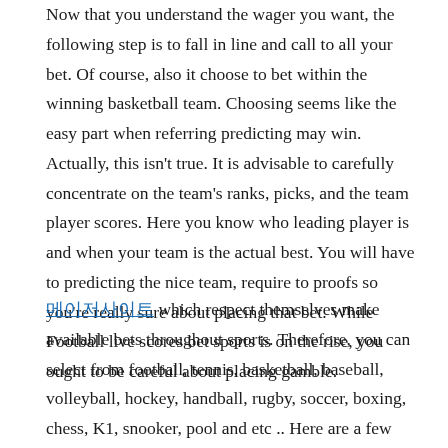Now that you understand the wager you want, the following step is to fall in line and call to all your bet. Of course, also it choose to bet within the winning basketball team. Choosing seems like the easy part when referring predicting may win. Actually, this isn't true. It is advisable to carefully concentrate on the team's ranks, picks, and the team player scores. Here you know who leading player is and when your team is the actual best. You will have to predicting the nice team, require to proofs so you're really sure about placing that bet. While Football live scores bet sports is on the rise, you ought to be careful about placing gamble.
메이저사이트 which respect themselves make available bets throughout sports. Therefore, you can select from football, tennis, basketball, baseball, volleyball, hockey, handball, rugby, soccer, boxing, chess, K1, snooker, pool and etc .. Here are a few choices you have when it comes down to the categories of bets you always makes. You have 1 x 2, double chance, handicaps, right score, multiple right score option, half time, half time/full time, under/over, and a few more interesting different wager types to first make use of.